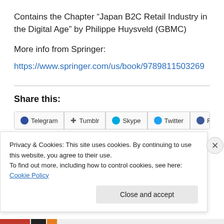Contains the Chapter “Japan B2C Retail Industry in the Digital Age” by Philippe Huysveld (GBMC)
More info from Springer:
https://www.springer.com/us/book/9789811503269
Share this:
Telegram  Tumblr  Skype  Twitter  Facebook
Privacy & Cookies: This site uses cookies. By continuing to use this website, you agree to their use.
To find out more, including how to control cookies, see here: Cookie Policy
Close and accept